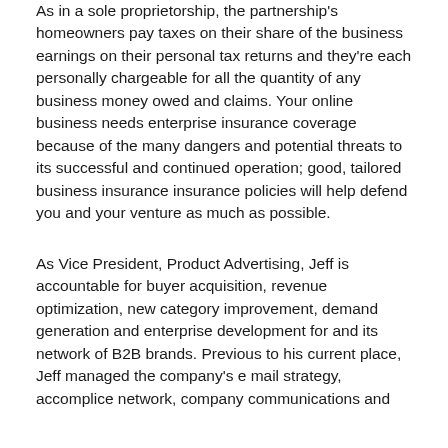As in a sole proprietorship, the partnership's homeowners pay taxes on their share of the business earnings on their personal tax returns and they're each personally chargeable for all the quantity of any business money owed and claims. Your online business needs enterprise insurance coverage because of the many dangers and potential threats to its successful and continued operation; good, tailored business insurance insurance policies will help defend you and your venture as much as possible.
As Vice President, Product Advertising, Jeff is accountable for buyer acquisition, revenue optimization, new category improvement, demand generation and enterprise development for and its network of B2B brands. Previous to his current place, Jeff managed the company's e mail strategy, accomplice network, company communications and